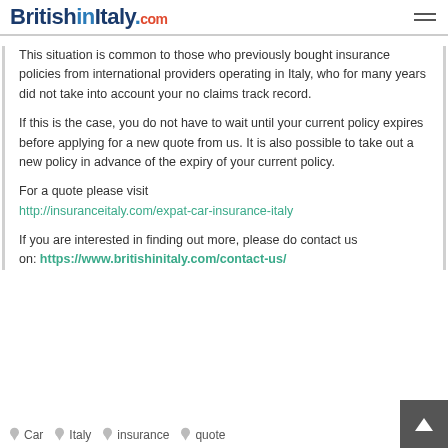BritishinItaly.com
This situation is common to those who previously bought insurance policies from international providers operating in Italy, who for many years did not take into account your no claims track record.
If this is the case, you do not have to wait until your current policy expires before applying for a new quote from us. It is also possible to take out a new policy in advance of the expiry of your current policy.
For a quote please visit http://insuranceitaly.com/expat-car-insurance-italy
If you are interested in finding out more, please do contact us on: https://www.britishinitaly.com/contact-us/
Car  Italy  insurance  quote